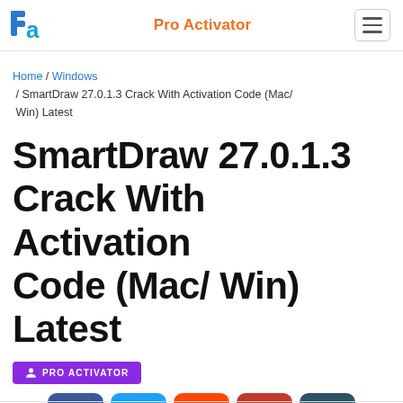Pro Activator
Home / Windows / SmartDraw 27.0.1.3 Crack With Activation Code (Mac/ Win) Latest
SmartDraw 27.0.1.3 Crack With Activation Code (Mac/ Win) Latest
PRO ACTIVATOR
[Figure (other): Social sharing icons row: Facebook, Twitter, Reddit, Pinterest, Copy]